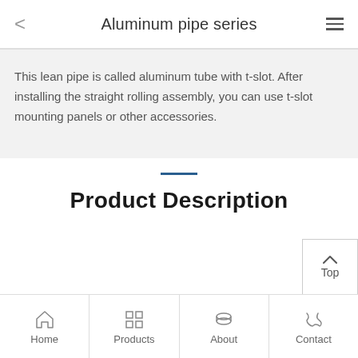Aluminum pipe series
This lean pipe is called aluminum tube with t-slot. After installing the straight rolling assembly, you can use t-slot mounting panels or other accessories.
Product Description
Home | Products | About | Contact